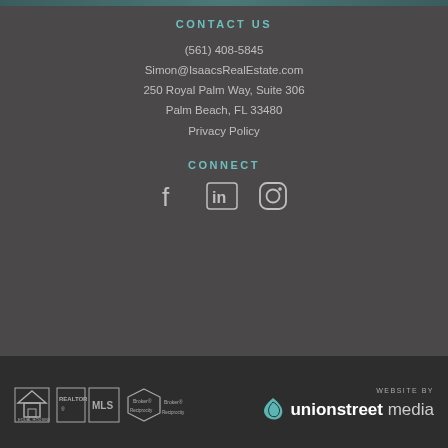CONTACT US
(561) 408-5845
Simon@IsaacsRealEstate.com
250 Royal Palm Way, Suite 306
Palm Beach, FL 33480
Privacy Policy
CONNECT
[Figure (illustration): Social media icons: Facebook, LinkedIn, Instagram]
[Figure (logo): Real estate compliance badges: Equal Housing, Realtor MLS, Broker Reciprocity]
[Figure (logo): Website by Union Street Media logo]